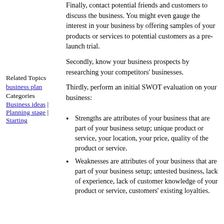Finally, contact potential friends and customers to discuss the business. You might even gauge the interest in your business by offering samples of your products or services to potential customers as a pre-launch trial.
Secondly, know your business prospects by researching your competitors' businesses.
Thirdly, perform an initial SWOT evaluation on your business:
Related Topics
business plan
Categories
Business ideas | Planning stage | Starting
Strengths are attributes of your business that are part of your business setup; unique product or service, your location, your price, quality of the product or service.
Weaknesses are attributes of your business that are part of your business setup; untested business, lack of experience, lack of customer knowledge of your product or service, customers' existing loyalties.